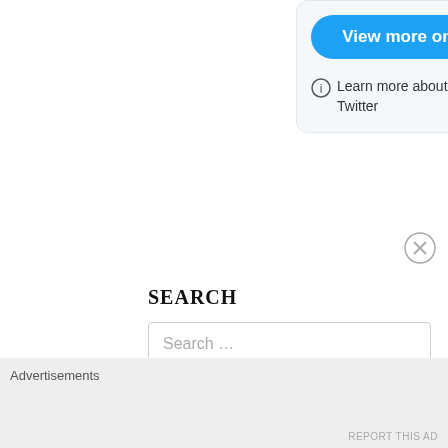[Figure (screenshot): Twitter embedded widget card with a blue 'View more on Twitter' button and privacy info link]
Learn more about privacy on Twitter
SEARCH
Search …
Advertisements
REPORT THIS AD